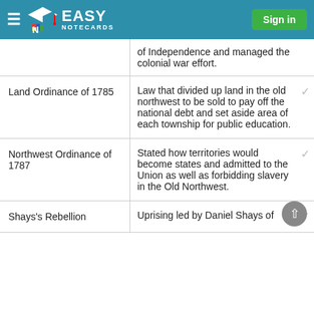Easy Notecards — Sign in
of Independence and managed the colonial war effort.
| Term | Definition |
| --- | --- |
| Land Ordinance of 1785 | Law that divided up land in the old northwest to be sold to pay off the national debt and set aside area of each township for public education. |
| Northwest Ordinance of 1787 | Stated how territories would become states and admitted to the Union as well as forbidding slavery in the Old Northwest. |
| Shays's Rebellion | Uprising led by Daniel Shays of |